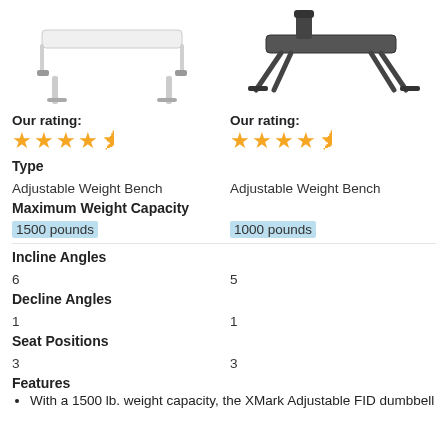[Figure (photo): Top portion showing two weight benches — a white adjustable bench on the left and a black adjustable bench on the right]
Our rating: ★★★★½
Our rating: ★★★★½
Type
Adjustable Weight Bench
Adjustable Weight Bench
Maximum Weight Capacity
1500 pounds
1000 pounds
Incline Angles
6
5
Decline Angles
1
1
Seat Positions
3
3
Features
With a 1500 lb. weight capacity, the XMark Adjustable FID dumbbell